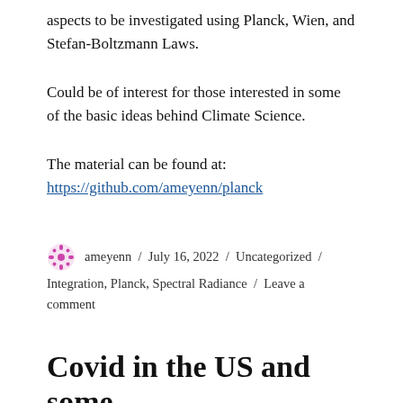aspects to be investigated using Planck, Wien, and Stefan-Boltzmann Laws.
Could be of interest for those interested in some of the basic ideas behind Climate Science.
The material can be found at:
https://github.com/ameyenn/planck
ameyenn / July 16, 2022 / Uncategorized / Integration, Planck, Spectral Radiance / Leave a comment
Covid in the US and some